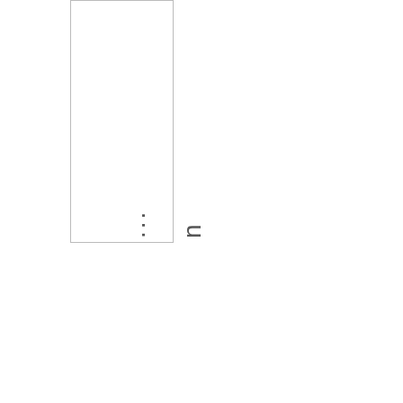n
...
the
...
rstudents in Austra
rideMarch. Withmaa